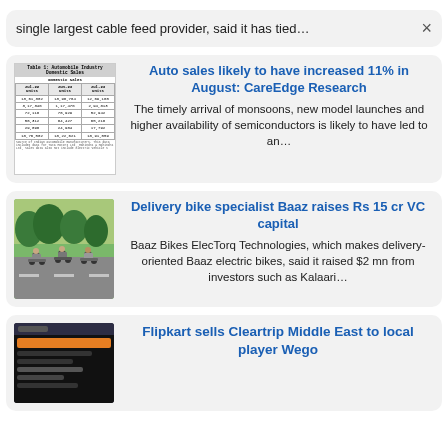single largest cable feed provider, said it has tied…
[Figure (table-as-image): Automobile Industry Domestic Sales table thumbnail with columns Jul-22, Jun-23, Jul-23]
Auto sales likely to have increased 11% in August: CareEdge Research
The timely arrival of monsoons, new model launches and higher availability of semiconductors is likely to have led to an…
[Figure (photo): Photo of delivery bikes/motorcycles on a road with trees]
Delivery bike specialist Baaz raises Rs 15 cr VC capital
Baaz Bikes ElecTorq Technologies, which makes delivery-oriented Baaz electric bikes, said it raised $2 mn from investors such as Kalaari…
[Figure (screenshot): Screenshot of a dark-themed travel/flight search interface]
Flipkart sells Cleartrip Middle East to local player Wego